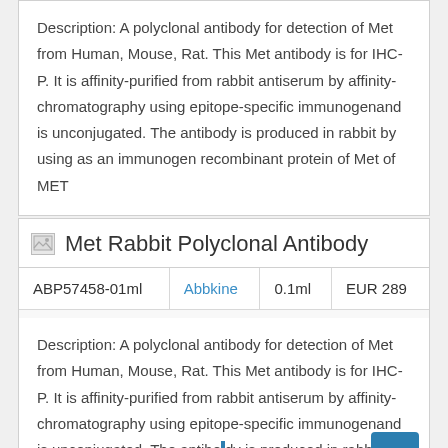Description: A polyclonal antibody for detection of Met from Human, Mouse, Rat. This Met antibody is for IHC-P. It is affinity-purified from rabbit antiserum by affinity-chromatography using epitope-specific immunogenand is unconjugated. The antibody is produced in rabbit by using as an immunogen recombinant protein of Met of MET
Met Rabbit Polyclonal Antibody
| ABP57458-01ml | Abbkine | 0.1ml | EUR 289 |
Description: A polyclonal antibody for detection of Met from Human, Mouse, Rat. This Met antibody is for IHC-P. It is affinity-purified from rabbit antiserum by affinity-chromatography using epitope-specific immunogenand is unconjugated. The antibo is produced in rabbit by using as an immunogen recombinant